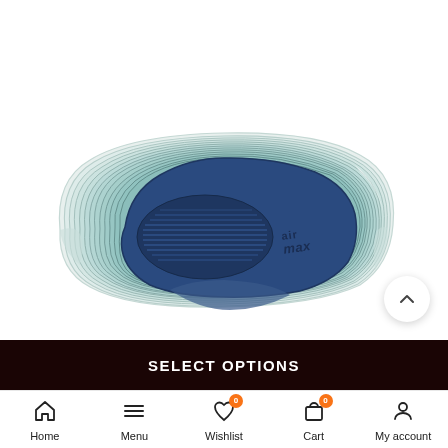[Figure (photo): Bottom sole view of a Nike Air Max 720 sneaker showing the large translucent air unit with navy blue inner sole, viewed from below against a white background.]
SELECT OPTIONS
Home  Menu  Wishlist  Cart  My account